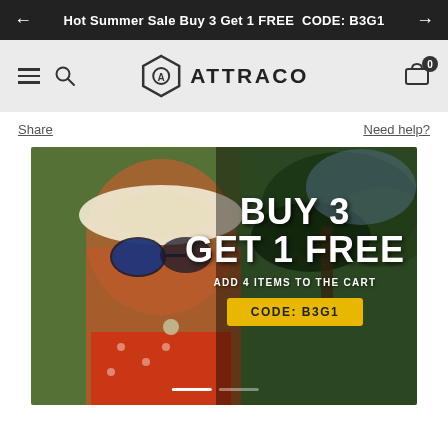Hot Summer Sale Buy 3 Get 1 FREE  CODE: B3G1
[Figure (logo): ATTRACO brand logo with hexagonal shield icon and text ATTRACO]
Share
Need help?
[Figure (photo): Promotional banner showing a woman wearing sunglasses and a sun hat with text BUY 3 GET 1 FREE, ADD 4 ITEMS TO THE CART, CODE: B3G1]